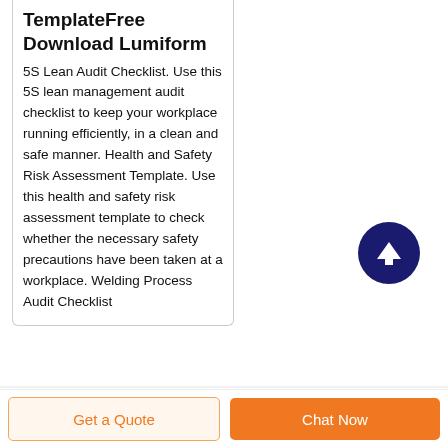TemplateFree Download Lumiform
5S Lean Audit Checklist. Use this 5S lean management audit checklist to keep your workplace running efficiently, in a clean and safe manner. Health and Safety Risk Assessment Template. Use this health and safety risk assessment template to check whether the necessary safety precautions have been taken at a workplace. Welding Process Audit Checklist
[Figure (illustration): Dark navy circular button with a white upward arrow icon, used as a scroll-to-top button]
Get a Quote
Chat Now